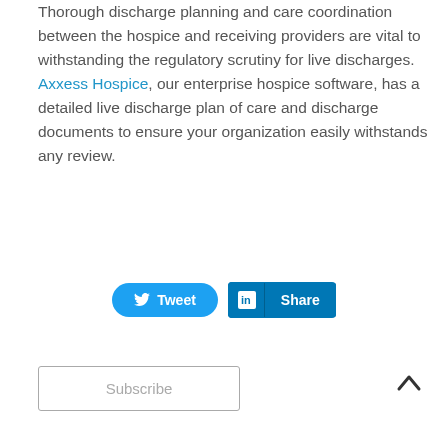Thorough discharge planning and care coordination between the hospice and receiving providers are vital to withstanding the regulatory scrutiny for live discharges. Axxess Hospice, our enterprise hospice software, has a detailed live discharge plan of care and discharge documents to ensure your organization easily withstands any review.
[Figure (other): Social sharing buttons: Tweet (Twitter) and Share (LinkedIn)]
[Figure (other): Subscribe button and back-to-top arrow]